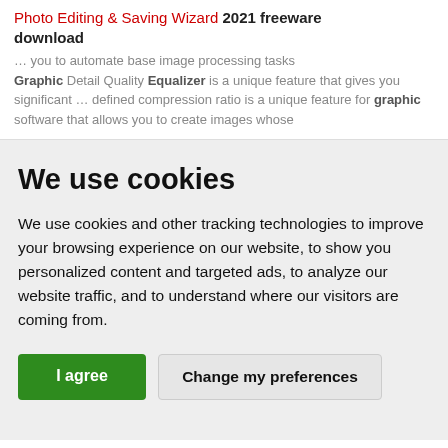Photo Editing & Saving Wizard 2021 freeware download
... you to automate base image processing tasks Graphic Detail Quality Equalizer is a unique feature that gives you significant ... defined compression ratio is a unique feature for graphic software that allows you to create images whose
We use cookies
We use cookies and other tracking technologies to improve your browsing experience on our website, to show you personalized content and targeted ads, to analyze our website traffic, and to understand where our visitors are coming from.
I agree | Change my preferences